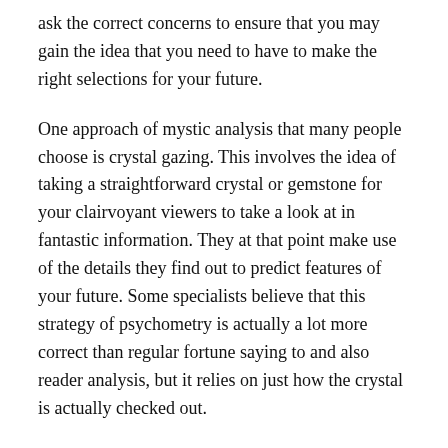ask the correct concerns to ensure that you may gain the idea that you need to have to make the right selections for your future.
One approach of mystic analysis that many people choose is crystal gazing. This involves the idea of taking a straightforward crystal or gemstone for your clairvoyant viewers to take a look at in fantastic information. They at that point make use of the details they find out to predict features of your future. Some specialists believe that this strategy of psychometry is actually a lot more correct than regular fortune saying to and also reader analysis, but it relies on just how the crystal is actually checked out.
Yet another form of spiritual reading is a tarot card analysis. This involves making use of a deck of memory cards and asking your psychic viewers to